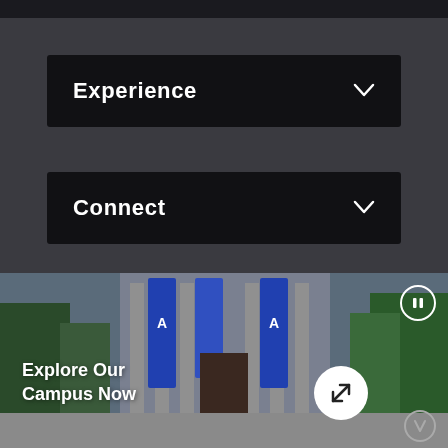Experience
Connect
[Figure (infographic): Social media icons: Facebook, Twitter, Instagram, YouTube]
[Figure (photo): Campus building entrance with blue banners displaying logo, surrounded by trees. Text overlay: Explore Our Campus Now. Expand and pause buttons visible.]